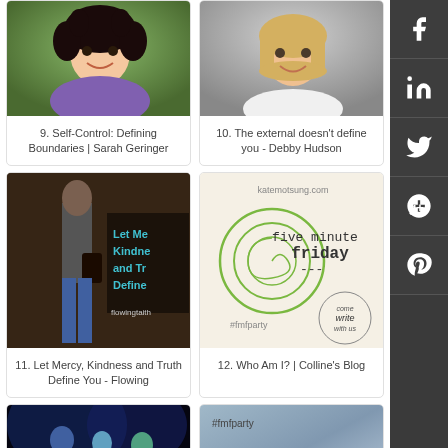[Figure (photo): Woman with curly dark hair smiling, wearing purple top]
[Figure (photo): Blonde woman smiling, white top]
9. Self-Control: Defining Boundaries | Sarah Geringer
10. The external doesn't define you - Debby Hudson
[Figure (photo): Street scene with text: Let Mercy, Kindness and Truth Define You - flowingtaith]
[Figure (photo): Five Minute Friday logo - katemotsung.com #fmfparty come write with us]
11. Let Mercy, Kindness and Truth Define You - Flowing
12. Who Am I? | Colline's Blog
[Figure (photo): Dance performance with blue lighting]
[Figure (photo): #fmfparty Define - text on blue/grey background]